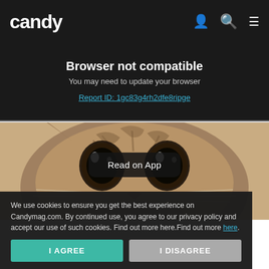candy
Browser not compatible
You may need to update your browser
Report ID: 1gc83g4rh2dfe8ripge
[Figure (photo): Close-up sepia-toned photo of a sad-looking cat face looking up at the camera with large pleading eyes]
Read on App
We use cookies to ensure you get the best experience on Candymag.com. By continued use, you agree to our privacy policy and accept our use of such cookies. Find out more here.Find out more here.
I AGREE
I DISAGREE